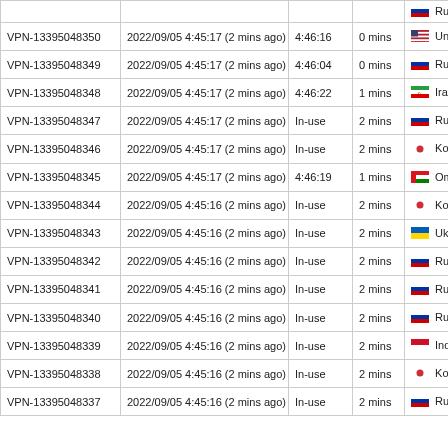| VPN ID | Date/Time | Time | Duration | Country |
| --- | --- | --- | --- | --- |
| VPN-13395048350 | 2022/09/05 4:45:17 (2 mins ago) | 4:46:16 | 0 mins | United States |
| VPN-13395048349 | 2022/09/05 4:45:17 (2 mins ago) | 4:46:04 | 0 mins | Russian Federation |
| VPN-13395048348 | 2022/09/05 4:45:17 (2 mins ago) | 4:46:22 | 1 mins | Iran (IS...) |
| VPN-13395048347 | 2022/09/05 4:45:17 (2 mins ago) | In-use | 2 mins | Russian Federation |
| VPN-13395048346 | 2022/09/05 4:45:17 (2 mins ago) | In-use | 2 mins | Korea R... |
| VPN-13395048345 | 2022/09/05 4:45:17 (2 mins ago) | 4:46:19 | 1 mins | Oman |
| VPN-13395048344 | 2022/09/05 4:45:16 (2 mins ago) | In-use | 2 mins | Korea R... |
| VPN-13395048343 | 2022/09/05 4:45:16 (2 mins ago) | In-use | 2 mins | Ukraine |
| VPN-13395048342 | 2022/09/05 4:45:16 (2 mins ago) | In-use | 2 mins | Russian Federation |
| VPN-13395048341 | 2022/09/05 4:45:16 (2 mins ago) | In-use | 2 mins | Russian Federation |
| VPN-13395048340 | 2022/09/05 4:45:16 (2 mins ago) | In-use | 2 mins | Russian Federation |
| VPN-13395048339 | 2022/09/05 4:45:16 (2 mins ago) | In-use | 2 mins | Indonesia |
| VPN-13395048338 | 2022/09/05 4:45:16 (2 mins ago) | In-use | 2 mins | Korea R... |
| VPN-13395048337 | 2022/09/05 4:45:16 (2 mins ago) | In-use | 2 mins | Russian Federation |